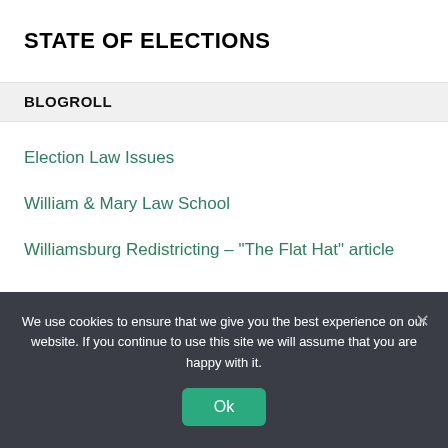STATE OF ELECTIONS
BLOGROLL
Election Law Issues
William & Mary Law School
Williamsburg Redistricting – "The Flat Hat" article
We use cookies to ensure that we give you the best experience on our website. If you continue to use this site we will assume that you are happy with it.